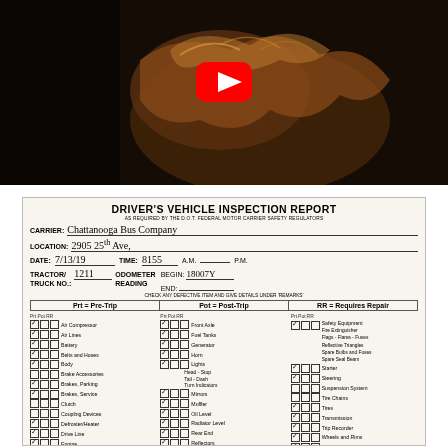[Figure (photo): YouTube video thumbnail showing a dark image of an animal (appears to be a dog or similar animal) with a red YouTube play button overlay in the center.]
DRIVER'S VEHICLE INSPECTION REPORT
AS REQUIRED BY THE D.O.T. FEDERAL MOTOR CARRIER SAFETY REGULATORS
| CARRIER: | Chattanooga Bus Company |
| LOCATION: | 2905 25th Ave. |
| DATE: | 7/13/19 | TIME: | 8155 | A.M. | P.M. |
| TRACTOR/TRUCK NO.: | 1211 | ODOMETER READING BEGIN: | 18007Y | END: |  |
CHECK ANY DEFECTIVE ITEM AND GIVE DETAILS UNDER 'REMARKS'
| Prt = Pre-Trip | Pot = Post-Trip | RR = Requires Repair |
| --- | --- | --- |
| Prt Pot RR | Air Compressor | Prt Pot RR | Front Axle | Prt Pot RR | Safety Equipment Fire Extinguisher Flags - Flares - Fuses Reflective Triangles Spare Bulbs and Fuses Spare Seal Beam |
|  | Air Lines |  | Fuel Tanks |  |  |
|  | Battery |  | Generator |  | Starter |
|  | Belts and Hoses |  | Horn |  | Steering |
|  | Body |  | Lights Head - Stop Tail - Dash Turn Indicators |  | Suspension System |
|  | Brake Accessories |  |  |  | Tire Chains |
|  | Brakes, Parking |  |  |  | Tires |
|  | Brakes, Service |  | Mirrors |  | Transmission |
|  | Clutch |  | Muffler |  | Trip Recorder |
|  | Coupling Devices |  | Oil Level |  | Wheels and Rims |
|  | Defroster/Heater |  | Radiator Level |  | Windows |
|  | Drive Line |  | Rear End |  |  |
|  | Engine |  | Reflectors |  |  |
|  | Exhaust |  |  |  |  |
|  | Fifth Wheel |  |  |  |  |